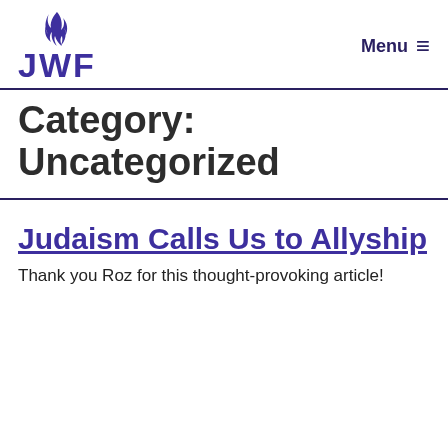[Figure (logo): JWF logo with flame icon above text 'JWF' in purple]
Menu ≡
Category: Uncategorized
Judaism Calls Us to Allyship
Thank you Roz for this thought-provoking article!